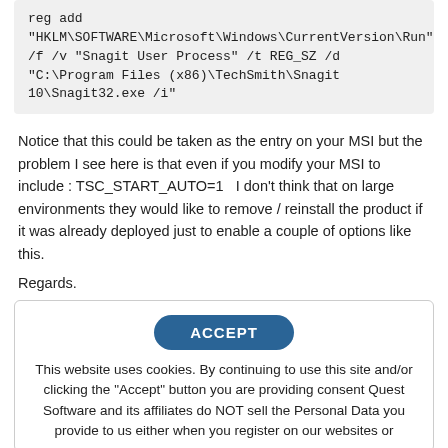reg add
"HKLM\SOFTWARE\Microsoft\Windows\CurrentVersion\Run"
/f /v "Snagit User Process" /t REG_SZ /d "C:\Program Files (x86)\TechSmith\Snagit 10\Snagit32.exe /i"
Notice that this could be taken as the entry on your MSI but the problem I see here is that even if you modify your MSI to include : TSC_START_AUTO=1   I don't think that on large environments they would like to remove / reinstall the product if it was already deployed just to enable a couple of options like this.
Regards.
Setup Information:
Setup Type: unspecified
[Figure (screenshot): Cookie consent overlay with ACCEPT button and cookie policy text]
This website uses cookies. By continuing to use this site and/or clicking the "Accept" button you are providing consent Quest Software and its affiliates do NOT sell the Personal Data you provide to us either when you register on our websites or